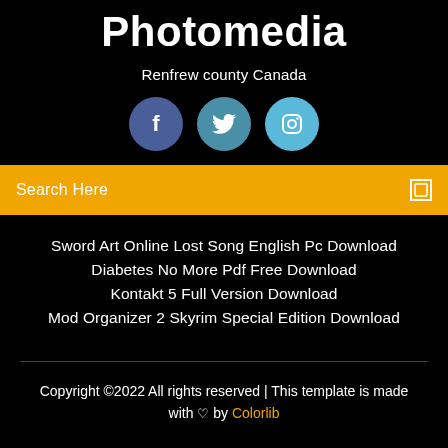Photomedia
Renfrew county Canada
[Figure (illustration): Three social media icon circles: Facebook (dark blue), Twitter (teal), Instagram (light blue)]
Search Here
Sword Art Online Lost Song English Pc Download
Diabetes No More Pdf Free Download
Kontakt 5 Full Version Download
Mod Organizer 2 Skyrim Special Edition Download
Copyright ©2022 All rights reserved | This template is made with ♡ by Colorlib